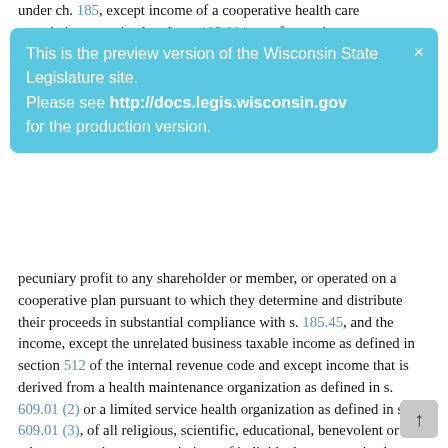under ch. 185, except income of a cooperative health care association organized under s. 185.981, or of a service
[Figure (infographic): Blue preview banner from Wisconsin State Legislature website: 'This is the preview version of the Wisconsin State Legislature site. Please see http://docs.legis.wisconsin.gov for the production version.' with a close (×) button in the top right.]
pecuniary profit to any shareholder or member, or operated on a cooperative plan pursuant to which they determine and distribute their proceeds in substantial compliance with s. 185.45, and the income, except the unrelated business taxable income as defined in section 512 of the internal revenue code and except income that is derived from a health maintenance organization as defined in s. 609.01 (2) or a limited service health organization as defined in s. 609.01 (3), of all religious, scientific, educational, benevolent or other corporations or associations of individuals not organized or conducted for pecuniary profit. This paragraph does not apply to the income of savings banks, mutual loan corporations or savings and loan associations. This paragraph does not apply to income that is realized from the sale of or purchase and subsequent sale or redemption of lottery prizes if the winning tickets were originally bought in this state. This paragraph applies to the income of credit unions except to the income of any credit union that is derived from public deposits for any taxable year in which the credit union is approved as a public